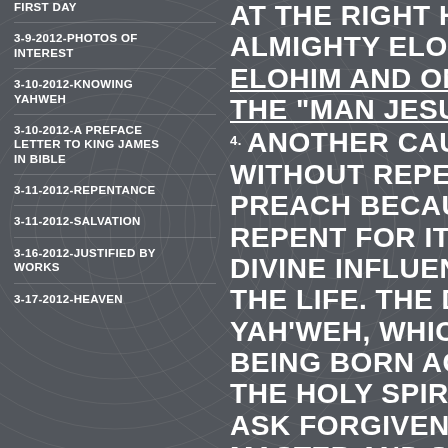FIRST DAY
3-9-2012-PHOTOS OF INTEREST
3-10-2012-KNOWING YAHWEH
3-10-2012-A PREFACE LETTER TO KING JAMES IN BIBLE
3-11-2012-REPENTANCE
3-11-2012-SALVATION
3-16-2012-JUSTIFIED BY WORKS
3-17-2012-HEAVEN
AT THE RIGHT H... ALMIGHTY ELOH... ELOHIM AND ON... THE "MAN JESU...
ANOTHER CAU... WITHOUT REPE... PREACH BECAU... REPENT FOR IT. DIVINE INFLUEN... THE LIFE. THE D... YAH'WEH, WHIC... BEING BORN AG... THE HOLY SPIR... ASK FORGIVENE... MASTER AND SA... VERILY, I SAY T...